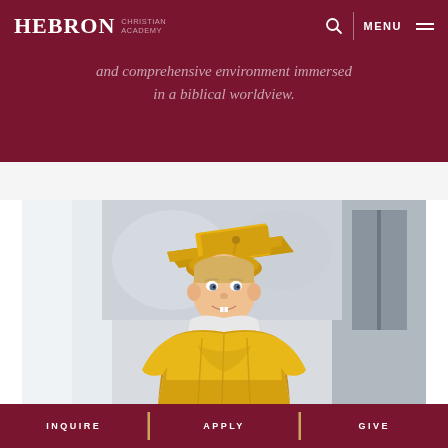HEBRON CHRISTIAN ACADEMY
and comprehensive environment immersed in a biblical worldview.
[Figure (photo): Young boy wearing a gold graduation cap and gown, smiling, in an indoor setting with blurred background]
INQUIRE   APPLY   GIVE